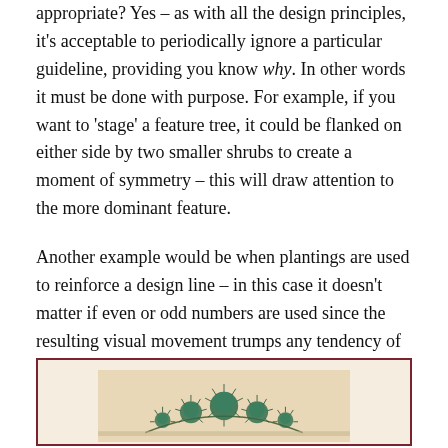appropriate? Yes – as with all the design principles, it's acceptable to periodically ignore a particular guideline, providing you know why. In other words it must be done with purpose. For example, if you want to 'stage' a feature tree, it could be flanked on either side by two smaller shrubs to create a moment of symmetry – this will draw attention to the more dominant feature.
Another example would be when plantings are used to reinforce a design line – in this case it doesn't matter if even or odd numbers are used since the resulting visual movement trumps any tendency of the eye to break groups in two.
[Figure (illustration): A garden design illustration showing shrubs arranged symmetrically in a row, viewed from above/front perspective, with teal/dark green spiky foliage against a beige background, enclosed in a dark red/maroon border frame.]